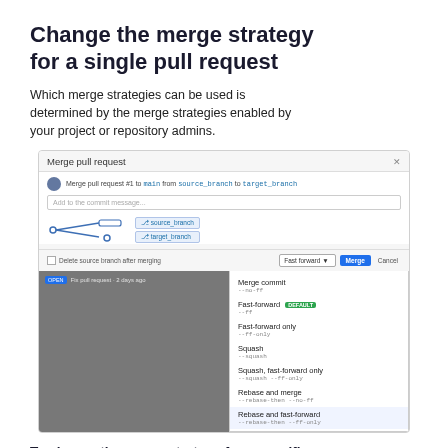Change the merge strategy for a single pull request
Which merge strategies can be used is determined by the merge strategies enabled by your project or repository admins.
[Figure (screenshot): Screenshot of a 'Merge pull request' dialog in a Git hosting interface, showing a dropdown menu with merge strategy options: Merge commit (--no-ff), Fast-forward (DEFAULT) (--ff), Fast-forward only (--ff-only), Squash (--squash), Squash, fast-forward only (--squash --ff-only), Rebase and merge (--rebase-then --no-ff), Rebase and fast-forward (--rebase-then --ff-only). The last item is highlighted. The dialog also shows branch diagram with source_branch and target_branch, a 'Fast forward' dropdown selector, a blue 'Merge' button, and a 'Cancel' button.]
To change the merge strategy for a specific pull